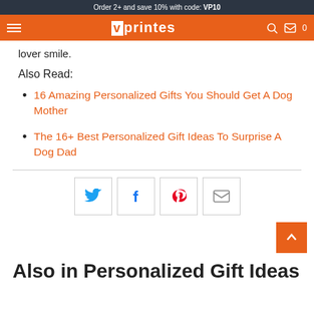Order 2+ and save 10% with code: VP10
Vprintes
lover smile.
Also Read:
16 Amazing Personalized Gifts You Should Get A Dog Mother
The 16+ Best Personalized Gift Ideas To Surprise A Dog Dad
[Figure (infographic): Social share buttons: Twitter, Facebook, Pinterest, Email]
Also in Personalized Gift Ideas